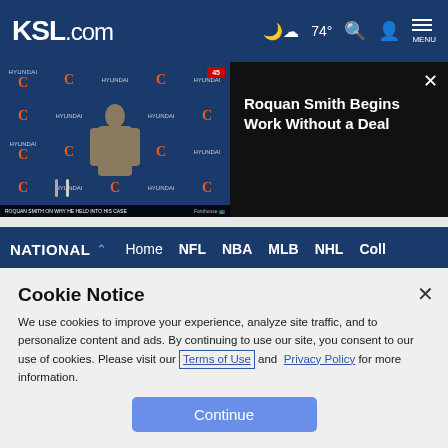KSL.com — 74° — MENU
[Figure (screenshot): Video thumbnail showing a person at a press conference with Chicago Bears branded backdrop (Hyundai sponsor logos). Badge top right. Caption: Roquan Smith Begins Work Without a Deal]
Roquan Smith Begins Work Without a Deal
NATIONAL  Home  NFL  NBA  MLB  NHL  Coll
Bowlsby says Big 12 will probably
Cookie Notice
We use cookies to improve your experience, analyze site traffic, and to personalize content and ads. By continuing to use our site, you consent to our use of cookies. Please visit our Terms of Use and  Privacy Policy for more information.
Continue